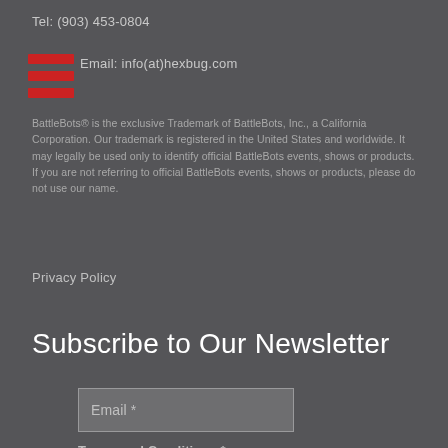Tel: (903) 453-0804
[Figure (logo): Three horizontal red bars icon (hamburger/menu icon in red)]
Email: info(at)hexbug.com
BattleBots® is the exclusive Trademark of BattleBots, Inc., a California Corporation. Our trademark is registered in the United States and worldwide. It may legally be used only to identify official BattleBots events, shows or products. If you are not referring to official BattleBots events, shows or products, please do not use our name.
Privacy Policy
Subscribe to Our Newsletter
Email *
Terms and Conditions *
I agree to have my email saved on your server